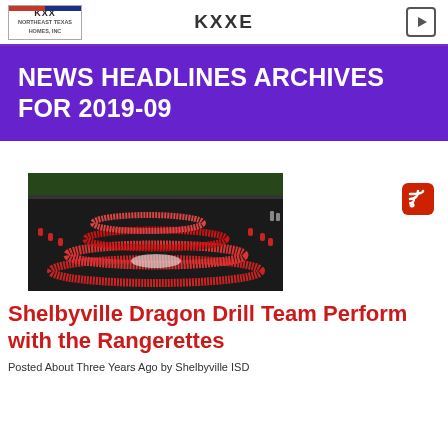KXXE
NEWS HEADLINES ARCHIVES FOR 2019-09
[Figure (photo): Aerial or elevated view of the Shelbyville Dragon Drill Team performing with the Rangerettes on a track/field, large group of students in red, white and blue uniforms arranged in a formation]
Shelbyville Dragon Drill Team Perform with the Rangerettes
Posted About Three Years Ago by Shelbyville ISD